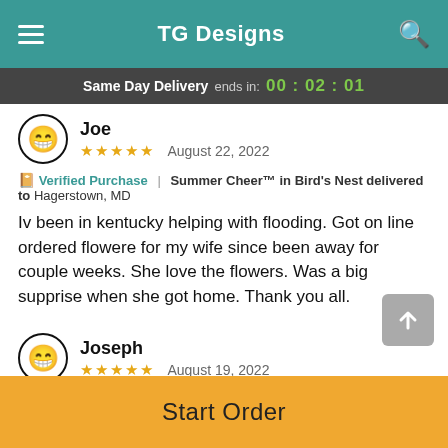TG Designs
Same Day Delivery ends in: 00:02:01
Joe
★★★★★  August 22, 2022
📖 Verified Purchase | Summer Cheer™ in Bird's Nest delivered to Hagerstown, MD
Iv been in kentucky helping with flooding. Got on line ordered flowere for my wife since been away for couple weeks. She love the flowers. Was a big supprise when she got home. Thank you all.
Joseph
★★★★★  August 19, 2022
Start Order